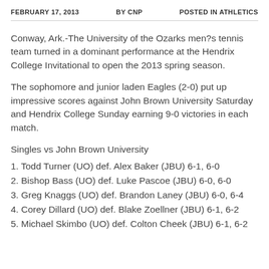FEBRUARY 17, 2013   BY CNP   POSTED IN ATHLETICS
Conway, Ark.-The University of the Ozarks men?s tennis team turned in a dominant performance at the Hendrix College Invitational to open the 2013 spring season.
The sophomore and junior laden Eagles (2-0) put up impressive scores against John Brown University Saturday and Hendrix College Sunday earning 9-0 victories in each match.
Singles vs John Brown University
1. Todd Turner (UO) def. Alex Baker (JBU) 6-1, 6-0
2. Bishop Bass (UO) def. Luke Pascoe (JBU) 6-0, 6-0
3. Greg Knaggs (UO) def. Brandon Laney (JBU) 6-0, 6-4
4. Corey Dillard (UO) def. Blake Zoellner (JBU) 6-1, 6-2
5. Michael Skimbo (UO) def. Colton Cheek (JBU) 6-1, 6-2